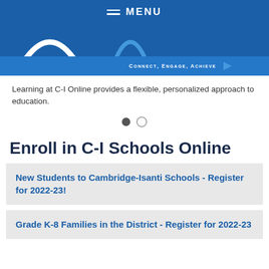MENU
[Figure (screenshot): Blue banner with white arc logo, Connect Engage Achieve tagline and arrow]
Learning at C-I Online provides a flexible, personalized approach to education.
[Figure (other): Carousel dots: one filled, one empty]
Enroll in C-I Schools Online
New Students to Cambridge-Isanti Schools - Register for 2022-23!
Grade K-8 Families in the District - Register for 2022-23